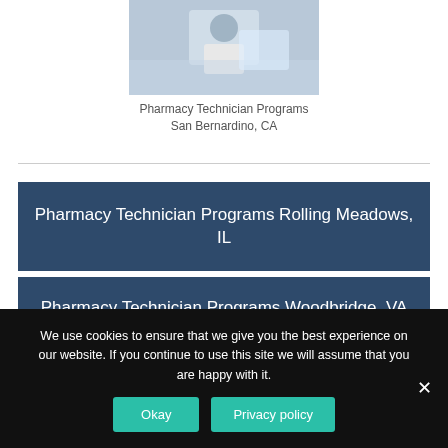[Figure (photo): Photo of a pharmacy technician in a white coat working at a counter]
Pharmacy Technician Programs San Bernardino, CA
Pharmacy Technician Programs Rolling Meadows, IL
Pharmacy Technician Programs Woodbridge, VA
We use cookies to ensure that we give you the best experience on our website. If you continue to use this site we will assume that you are happy with it.